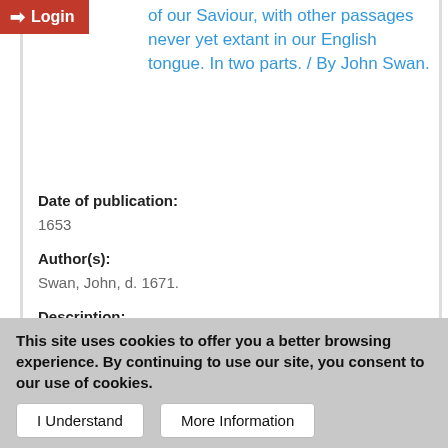Login
of our Saviour, with other passages never yet extant in our English tongue. In two parts. / By John Swan.
Date of publication:
1653
Author(s):
Swan, John, d. 1671.
Description:
Title page in red and black. The second part has separate dated title page, pagination, and register. Thomason copy imperfect: frequent show-through. Annotation on Thomason copy: "July 21". Reproduction of the original in ...
This item contains 4 files (3.09 MB).
This site uses cookies to offer you a better browsing experience. By continuing to use our site, you consent to our use of cookies.
I Understand
More Information